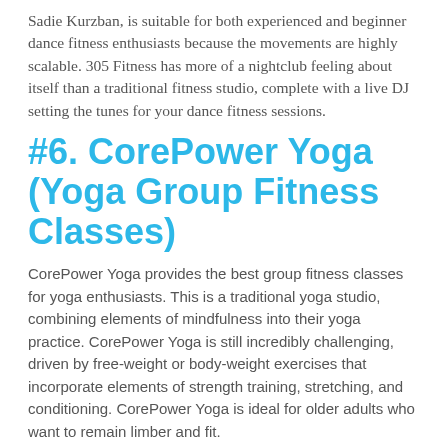Sadie Kurzban, is suitable for both experienced and beginner dance fitness enthusiasts because the movements are highly scalable. 305 Fitness has more of a nightclub feeling about itself than a traditional fitness studio, complete with a live DJ setting the tunes for your dance fitness sessions.
#6. CorePower Yoga (Yoga Group Fitness Classes)
CorePower Yoga provides the best group fitness classes for yoga enthusiasts. This is a traditional yoga studio, combining elements of mindfulness into their yoga practice. CorePower Yoga is still incredibly challenging, driven by free-weight or body-weight exercises that incorporate elements of strength training, stretching, and conditioning. CorePower Yoga is ideal for older adults who want to remain limber and fit.
#5. P.volve (Strength Training for the Glutes)
P.volve provides some of the most unique group fitness